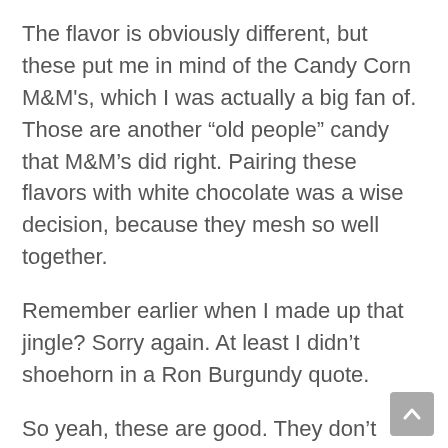The flavor is obviously different, but these put me in mind of the Candy Corn M&M's, which I was actually a big fan of. Those are another “old people” candy that M&M’s did right. Pairing these flavors with white chocolate was a wise decision, because they mesh so well together.
Remember earlier when I made up that jingle? Sorry again. At least I didn’t shoehorn in a Ron Burgundy quote.
So yeah, these are good. They don’t specify, but I assume they’ll strictly be a fall release. They kinda limited their window with the name “BOO-tterscotch,” but I guess if they’re popular enough they can change it.
These are probably gonna find their way to